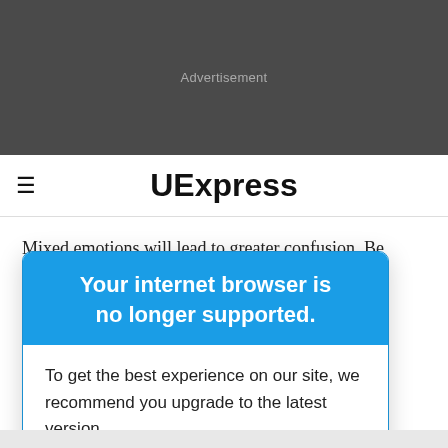[Figure (other): Dark gray advertisement banner area with 'Advertisement' label in light gray text]
UExpress
Mixed emotions will lead to greater confusion. Be
[Figure (screenshot): Browser upgrade modal overlay with blue header reading 'Your internet browser is no longer supported.' and white body reading 'To get the best experience on our site, we recommend you upgrade to the latest version.']